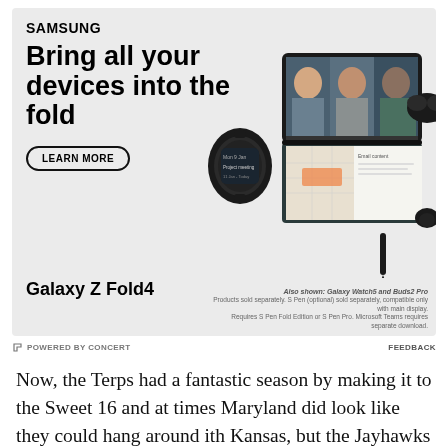[Figure (photo): Samsung advertisement showing Galaxy Z Fold4 with a smartwatch, earbuds, and S Pen. The fold4 displays a video call with three people on its outer screen and a map/documents on its inner screen.]
Bring all your devices into the fold
LEARN MORE
Galaxy Z Fold4
Also shown: Galaxy Watch5 and Buds2 Pro
Products sold separately. S Pen (optional) sold separately, compatible only with main display. Requires S Pen Fold Edition or S Pen Pro. Microsoft Teams requires separate download.
POWERED BY CONCERT   FEEDBACK
Now, the Terps had a fantastic season by making it to the Sweet 16 and at times Maryland did look like they could hang around ith Kansas, but the Jayhawks were clearly the better team. The Terps are obviously going